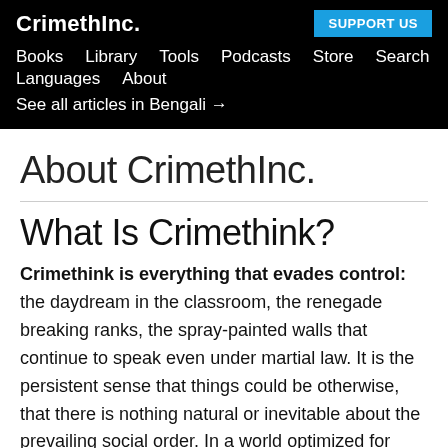CrimethInc.  SUPPORT US  Books  Library  Tools  Podcasts  Store  Search  Languages  About  See all articles in Bengali →
About CrimethInc.
What Is Crimethink?
Crimethink is everything that evades control: the daydream in the classroom, the renegade breaking ranks, the spray-painted walls that continue to speak even under martial law. It is the persistent sense that things could be otherwise, that there is nothing natural or inevitable about the prevailing social order. In a world optimized for administration,